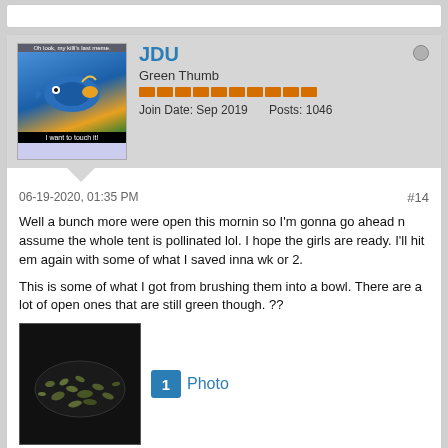JDU
Green Thumb
Join Date: Sep 2019   Posts: 1046
06-19-2020, 01:35 PM
#14
Well a bunch more were open this mornin so I'm gonna go ahead n assume the whole tent is pollinated lol. I hope the girls are ready. I'll hit em again with some of what I saved inna wk or 2.
This is some of what I got from brushing them into a bowl. There are a lot of open ones that are still green though. ??
[Figure (photo): Photo of small green seeds/pollen in a dark bowl]
2 likes
1 comment